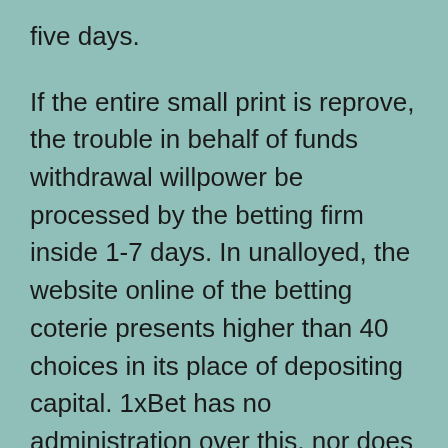five days.
If the entire small print is reprove, the trouble in behalf of funds withdrawal willpower be processed by the betting firm inside 1-7 days. In unalloyed, the website online of the betting coterie presents higher than 40 choices in its place of depositing capital. 1xBet has no administration over this, nor does it have any management over you worthwhile, or dropping a positioned wager, or sport. You see, when visiting an official website, you'll not uncover an software supposed for Windows Phone. But it doesn' testosterone levels imply owners of